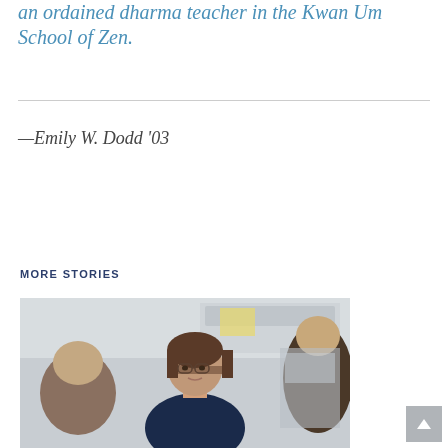an ordained dharma teacher in the Kwan Um School of Zen.
—Emily W. Dodd '03
MORE STORIES
[Figure (photo): A woman with short brown hair and glasses speaking with students in what appears to be a classroom or lab setting.]